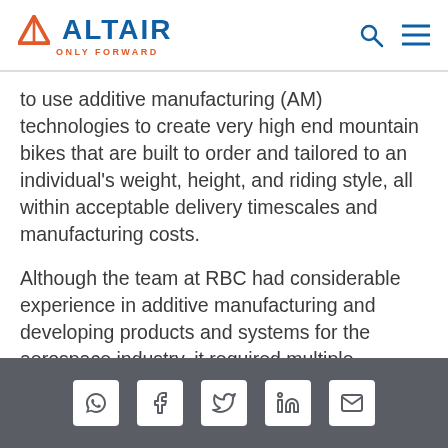ALTAIR — ONLY FORWARD
to use additive manufacturing (AM) technologies to create very high end mountain bikes that are built to order and tailored to an individual's weight, height, and riding style, all within acceptable delivery timescales and manufacturing costs.
Although the team at RBC had considerable experience in additive manufacturing and developing products and systems for the aerospace industry, it required multiple partnerships with industry experts in order to turn its ambition into a workable
Social share icons: WhatsApp, Facebook, Twitter, LinkedIn, Email